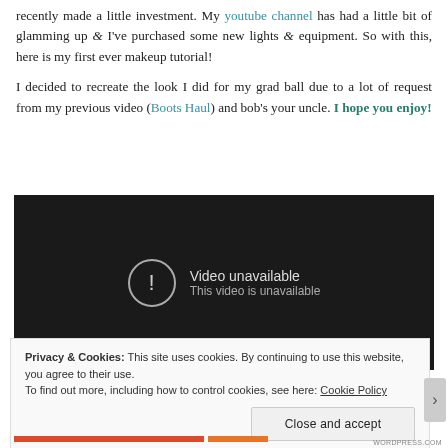recently made a little investment. My youtube channel has had a little bit of glamming up & I've purchased some new lights & equipment. So with this, here is my first ever makeup tutorial!

I decided to recreate the look I did for my grad ball due to a lot of request from my previous video (Boots Haul) and bob's your uncle. I hope you enjoy!
[Figure (screenshot): Embedded YouTube video player showing 'Video unavailable. This video is unavailable.' message on a dark background.]
Privacy & Cookies: This site uses cookies. By continuing to use this website, you agree to their use.
To find out more, including how to control cookies, see here: Cookie Policy
[Close and accept button]